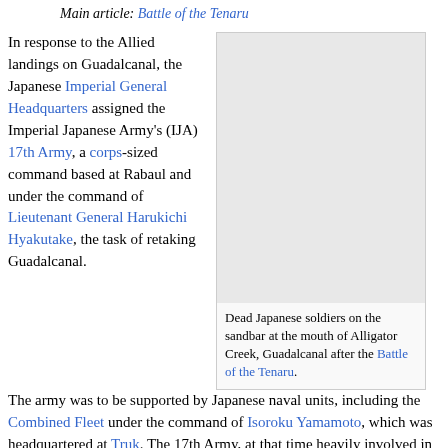Main article: Battle of the Tenaru
In response to the Allied landings on Guadalcanal, the Japanese Imperial General Headquarters assigned the Imperial Japanese Army's (IJA) 17th Army, a corps-sized command based at Rabaul and under the command of Lieutenant General Harukichi Hyakutake, the task of retaking Guadalcanal.
[Figure (photo): Gray placeholder image representing dead Japanese soldiers on the sandbar at the mouth of Alligator Creek, Guadalcanal after the Battle of the Tenaru.]
Dead Japanese soldiers on the sandbar at the mouth of Alligator Creek, Guadalcanal after the Battle of the Tenaru.
The army was to be supported by Japanese naval units, including the Combined Fleet under the command of Isoroku Yamamoto, which was headquartered at Truk. The 17th Army, at that time heavily involved in the Japanese campaign in New Guinea, had only a few units available. Of these, the 35th Infantry Brigade under Major General Kiyotake Kawaguchi was at Palau, the 4th (Aoba) Infantry